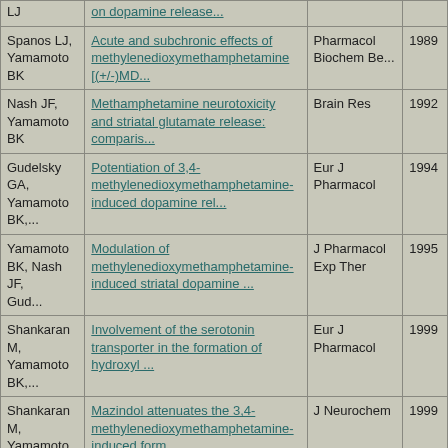| Authors | Title | Journal | Year |
| --- | --- | --- | --- |
| [partial row - authors cut off] | on dopamine release... |  |  |
| Spanos LJ, Yamamoto BK | Acute and subchronic effects of methylenedioxymethamphetamine [(+/-)MD... | Pharmacol Biochem Be... | 1989 |
| Nash JF, Yamamoto BK | Methamphetamine neurotoxicity and striatal glutamate release: comparis... | Brain Res | 1992 |
| Gudelsky GA, Yamamoto BK,... | Potentiation of 3,4-methylenedioxymethamphetamine-induced dopamine rel... | Eur J Pharmacol | 1994 |
| Yamamoto BK, Nash JF, Gud... | Modulation of methylenedioxymethamphetamine-induced striatal dopamine ... | J Pharmacol Exp Ther | 1995 |
| Shankaran M, Yamamoto BK,... | Involvement of the serotonin transporter in the formation of hydroxyl ... | Eur J Pharmacol | 1999 |
| Shankaran M, Yamamoto BK,... | Mazindol attenuates the 3,4-methylenedioxymethamphetamine-induced form... | J Neurochem | 1999 |
| Burrows KB, Gudelsky G, Y... | Rapid and transient inhibition of mitochondrial function following met... | Eur J Pharmacol | 2000 |
| Nixdorf WL, Burrows KB, G... | Enhancement of 3,4-methylenedioxymethamphetamine neurotoxicity by the ... | Journal of Neurochem... | 2001 |
| Shankaran M, Yamamoto BK,... | Ascorbic Acid Prevents 3,4-Methylenedioxymethamphetamine (MDMA)-Induc... | Synapse | 2001 |